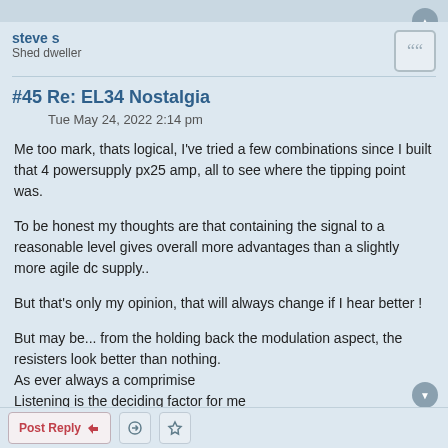steve s
Shed dweller
#45 Re: EL34 Nostalgia
Tue May 24, 2022 2:14 pm
Me too mark, thats logical, I've tried a few combinations since I built that 4 powersupply px25 amp, all to see where the tipping point was.
To be honest my thoughts are that containing the signal to a reasonable level gives overall more advantages than a slightly more agile dc supply..
But that's only my opinion, that will always change if I hear better !
But may be... from the holding back the modulation aspect, the resisters look better than nothing.
As ever always a comprimise
Listening is the deciding factor for me
The tube manual is quite like a telephone book. The number of it perfect. It is useful to make it possible to speak with a girl. But we can't see her beautiful face from the telephone number